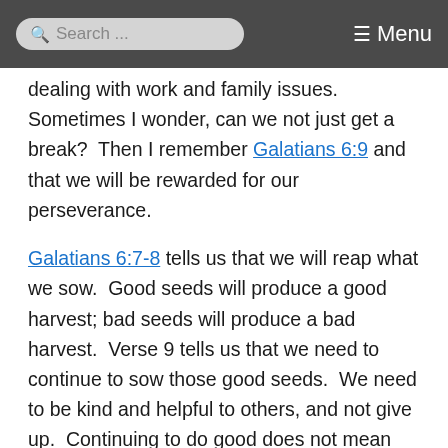Search ... Menu
dealing with work and family issues. Sometimes I wonder, can we not just get a break? Then I remember Galatians 6:9 and that we will be rewarded for our perseverance.
Galatians 6:7-8 tells us that we will reap what we sow. Good seeds will produce a good harvest; bad seeds will produce a bad harvest. Verse 9 tells us that we need to continue to sow those good seeds. We need to be kind and helpful to others, and not give up. Continuing to do good does not mean that we need to do everything. We need to prioritize the things that consume our time and energy, but we also need to be sure that it isn't all focused on